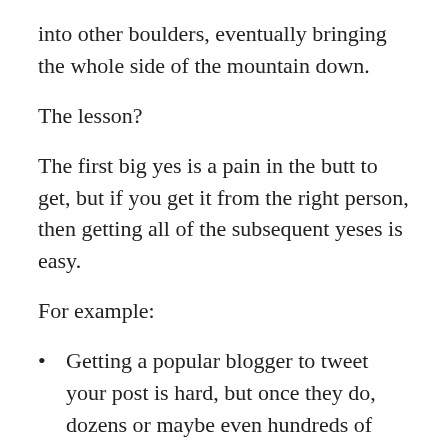into other boulders, eventually bringing the whole side of the mountain down.
The lesson?
The first big yes is a pain in the butt to get, but if you get it from the right person, then getting all of the subsequent yeses is easy.
For example:
Getting a popular blogger to tweet your post is hard, but once they do, dozens or maybe even hundreds of people will retweet them